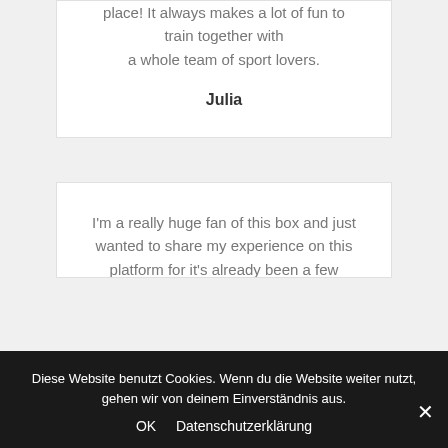place! It always makes a lot of fun to train together with a whole team of sport lovers.
Julia
I'm a really huge fan of this box and just wanted to share my experience on this platform for it's already been a few months since I have been working out here and I would like to warmly recommend this gym to everybody who would be interested in coming here. I just wanted to say thank you for always making each workout such a
Diese Website benutzt Cookies. Wenn du die Website weiter nutzt, gehen wir von deinem Einverständnis aus. OK Datenschutzerklärung